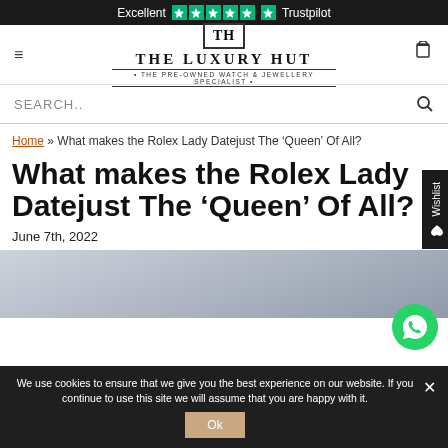Excellent ★★★★★ Trustpilot
[Figure (logo): The Luxury Hut logo — TH monogram in a box, 'THE LUXURY HUT' wordmark, tagline 'THE PRE-OWNED WATCH & JEWELLERY SPECIALIST']
SEARCH..
Home » What makes the Rolex Lady Datejust The 'Queen' Of All?
What makes the Rolex Lady Datejust The 'Queen' Of All?
June 7th, 2022
[Figure (photo): Close-up photo of a Rolex Lady Datejust watch on a light fabric background]
We use cookies to ensure that we give you the best experience on our website. If you continue to use this site we will assume that you are happy with it.